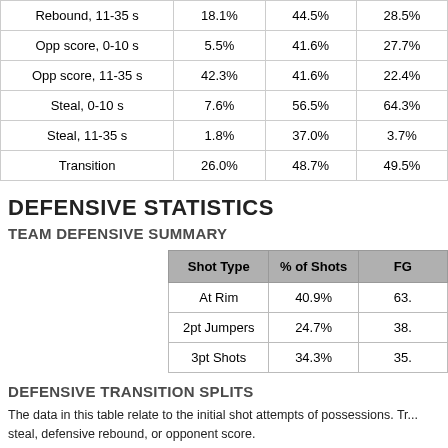|  |  |  |  |
| --- | --- | --- | --- |
| Rebound, 11-35 s | 18.1% | 44.5% | 28.5% |
| Opp score, 0-10 s | 5.5% | 41.6% | 27.7% |
| Opp score, 11-35 s | 42.3% | 41.6% | 22.4% |
| Steal, 0-10 s | 7.6% | 56.5% | 64.3% |
| Steal, 11-35 s | 1.8% | 37.0% | 3.7% |
| Transition | 26.0% | 48.7% | 49.5% |
DEFENSIVE STATISTICS
TEAM DEFENSIVE SUMMARY
| Shot Type | % of Shots | FG... |
| --- | --- | --- |
| At Rim | 40.9% | 63. |
| 2pt Jumpers | 24.7% | 38. |
| 3pt Shots | 34.3% | 35. |
DEFENSIVE TRANSITION SPLITS
The data in this table relate to the initial shot attempts of possessions. Tr... steal, defensive rebound, or opponent score.